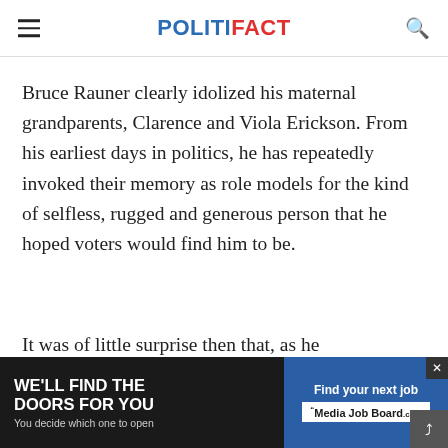POLITIFACT
Bruce Rauner clearly idolized his maternal grandparents, Clarence and Viola Erickson. From his earliest days in politics, he has repeatedly invoked their memory as role models for the kind of selfless, rugged and generous person that he hoped voters would find him to be.
It was of little surprise then that, as he appea... contr...